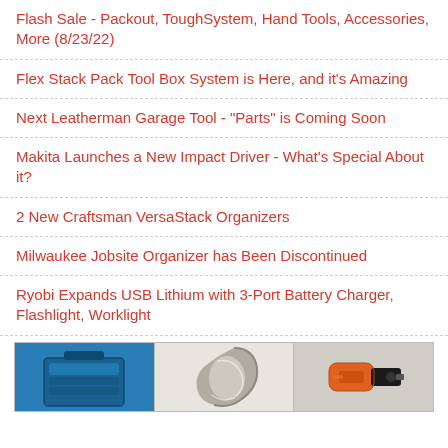Flash Sale - Packout, ToughSystem, Hand Tools, Accessories, More (8/23/22)
Flex Stack Pack Tool Box System is Here, and it's Amazing
Next Leatherman Garage Tool - "Parts" is Coming Soon
Makita Launches a New Impact Driver - What's Special About it?
2 New Craftsman VersaStack Organizers
Milwaukee Jobsite Organizer has Been Discontinued
Ryobi Expands USB Lithium with 3-Port Battery Charger, Flashlight, Worklight
[Figure (photo): Three product images: a blue Bosch/tool storage case on left, a grey curved tool handle in the middle, and an orange and black Ryobi screwdriver/drill on the right]